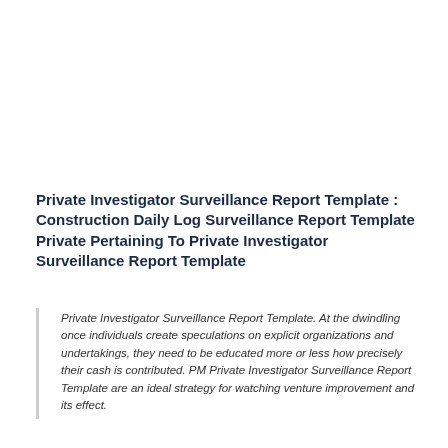Private Investigator Surveillance Report Template : Construction Daily Log Surveillance Report Template Private Pertaining To Private Investigator Surveillance Report Template
Private Investigator Surveillance Report Template. At the dwindling once individuals create speculations on explicit organizations and undertakings, they need to be educated more or less how precisely their cash is contributed. PM Private Investigator Surveillance Report Template are an ideal strategy for watching venture improvement and its effect.